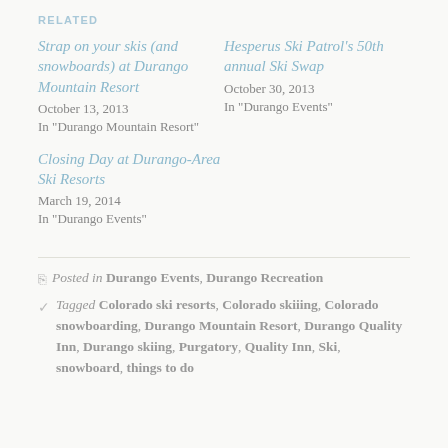RELATED
Strap on your skis (and snowboards) at Durango Mountain Resort
October 13, 2013
In "Durango Mountain Resort"
Hesperus Ski Patrol's 50th annual Ski Swap
October 30, 2013
In "Durango Events"
Closing Day at Durango-Area Ski Resorts
March 19, 2014
In "Durango Events"
Posted in Durango Events, Durango Recreation
Tagged Colorado ski resorts, Colorado skiiing, Colorado snowboarding, Durango Mountain Resort, Durango Quality Inn, Durango skiing, Purgatory, Quality Inn, Ski, snowboard, things to do